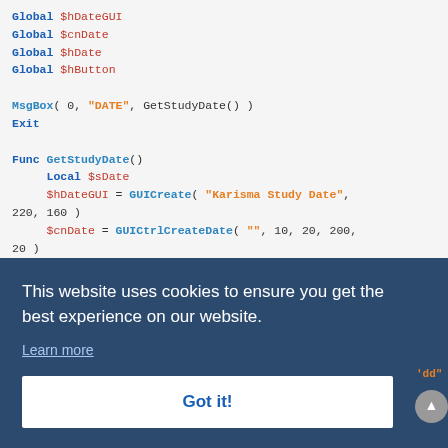[Figure (screenshot): Code editor screenshot showing AutoIt script with Global variables, MsgBox, Exit, and Func GetStudyDate() with GUI creation calls. Syntax highlighted in blue, red/orange, and dark text on light grey background.]
This website uses cookies to ensure you get the best experience on our website.
Learn more
Got it!